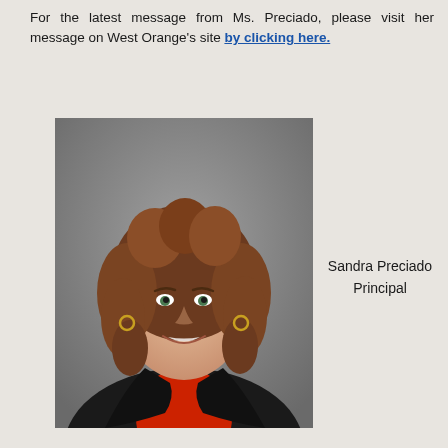For the latest message from Ms. Preciado, please visit her message on West Orange's site by clicking here.
[Figure (photo): Professional headshot of Sandra Preciado, a woman with curly brown hair wearing a black blazer over a red top, photographed against a gray background.]
Sandra Preciado
Principal